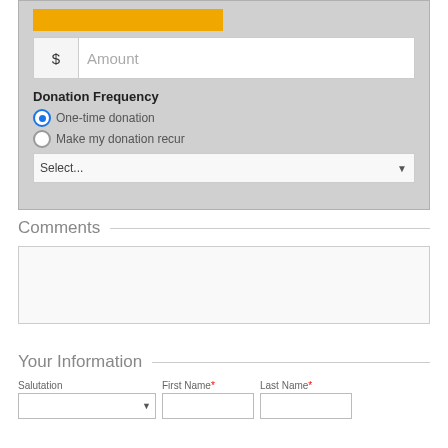[Figure (screenshot): Donation form UI with orange button, amount input field with dollar sign, Donation Frequency section with radio buttons and a Select dropdown]
Comments
Comments textarea (empty)
Your Information
Salutation, First Name*, Last Name* form fields